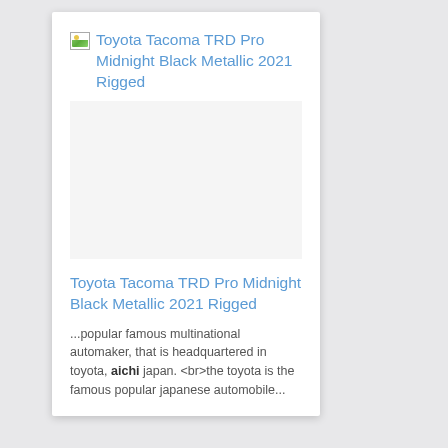[Figure (screenshot): Broken image placeholder with icon showing 'Toyota Tacoma TRD Pro Midnight Black Metallic 2021 Rigged' as alt text link in blue, followed by a blank image area]
Toyota Tacoma TRD Pro Midnight Black Metallic 2021 Rigged
...popular famous multinational automaker, that is headquartered in toyota, aichi japan. <br>the toyota is the famous popular japanese automobile...